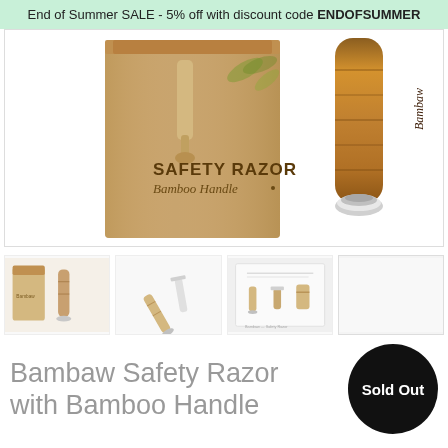End of Summer SALE - 5% off with discount code ENDOFSUMMER
[Figure (photo): Product photo showing a kraft paper box labeled 'SAFETY RAZOR Bamboo Handle' on the left, and a bamboo razor handle with silver base on the right, against a white background]
[Figure (photo): Four product thumbnail images: (1) razor with box, (2) disassembled razor, (3) instruction diagram sheet, (4) blank/white square]
Bambaw Safety Razor with Bamboo Handle
Sold Out